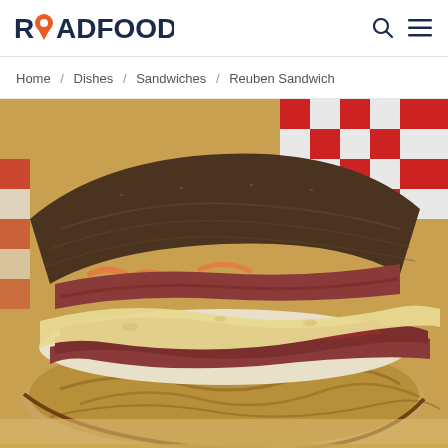ROADFOOD
Home / Dishes / Sandwiches / Reuben Sandwich
[Figure (photo): Close-up photo of a Reuben sandwich cut in half, showing layers of corned beef, sauerkraut, Swiss cheese, and Thousand Island dressing on toasted marble rye bread, sitting in a basket lined with red-checkered paper]